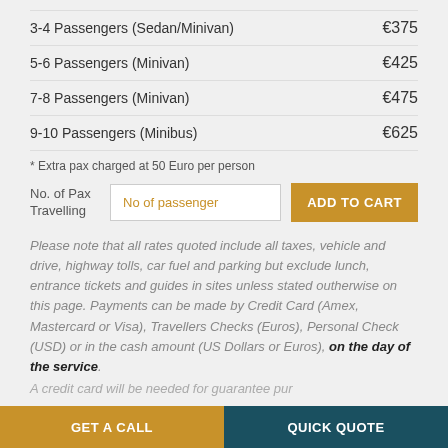3-4 Passengers (Sedan/Minivan)  €375
5-6 Passengers (Minivan)  €425
7-8 Passengers (Minivan)  €475
9-10 Passengers (Minibus)  €625
* Extra pax charged at 50 Euro per person
No. of Pax Travelling  [No of passenger input]  ADD TO CART
Please note that all rates quoted include all taxes, vehicle and drive, highway tolls, car fuel and parking but exclude lunch, entrance tickets and guides in sites unless stated outherwise on this page. Payments can be made by Credit Card (Amex, Mastercard or Visa), Travellers Checks (Euros), Personal Check (USD) or in the cash amount (US Dollars or Euros), on the day of the service.
A credit card will be needed for guarantee purposes
GET A CALL  QUICK QUOTE